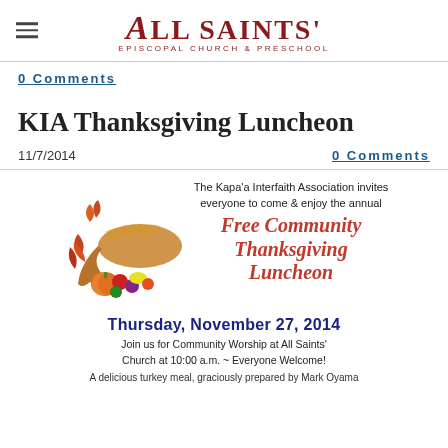[Figure (logo): All Saints' Episcopal Church & Preschool logo with decorative A and saints text in dark red]
0 Comments
KIA Thanksgiving Luncheon
11/7/2014
0 Comments
[Figure (illustration): Flyer for Free Community Thanksgiving Luncheon by Kapa'a Interfaith Association. Features cornucopia illustration. Text: The Kapa'a Interfaith Association invites everyone to come & enjoy the annual Free Community Thanksgiving Luncheon. Thursday, November 27, 2014. Join us for Community Worship at All Saints' Church at 10:00 a.m. ~ Everyone Welcome! A delicious turkey meal, graciously prepared by Mark Oyama...]
A delicious turkey meal, graciously prepared by Mark Oyama